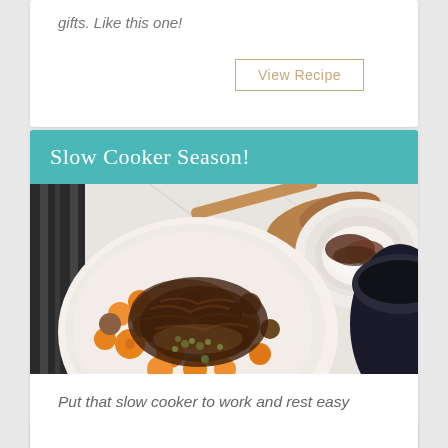gifts. Like this one!
View Recipe
Slow Cooker Season!
[Figure (photo): Overhead photo of slow cooker dish with shredded beef, sliced carrots, mushrooms, and herbs in a white bowl. A wooden spoon and a plate with meat over rice visible in the background on a white marble surface.]
Put that slow cooker to work and rest easy knowing you have a warm meal waiting for you at the end of the day!
View Recipe